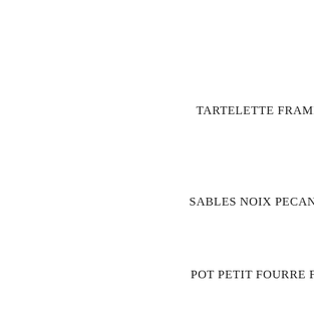TARTELETTE FRAMBO
SABLES NOIX PECAN1
POT PETIT FOURRE FR